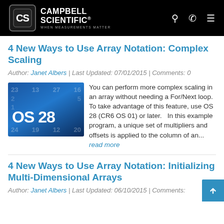[Figure (logo): Campbell Scientific logo — shield icon with 'CS' monogram and text 'CAMPBELL SCIENTIFIC / WHEN MEASUREMENTS MATTER' on black header bar with search, phone, and menu icons]
4 New Ways to Use Array Notation: Complex Scaling
Author: Janet Albers | Last Updated: 07/01/2015 | Comments: 0
[Figure (screenshot): Blue gradient image showing 'OS 28' text in large white bold lettering, with faded numbers 23, 13, 27, 16, 24, 19, 12, 20 in background]
You can perform more complex scaling in an array without needing a For/Next loop. To take advantage of this feature, use OS 28 (CR6 OS 01) or later.   In this example program, a unique set of multipliers and offsets is applied to the column of an... read more
4 New Ways to Use Array Notation: Initializing Multi-Dimensional Arrays
Author: Janet Albers | Last Updated: 06/10/2015 | Comments: